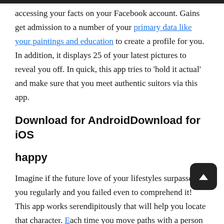accessing your facts on your Facebook account. Gains get admission to a number of your primary data like your paintings and education to create a profile for you. In addition, it displays 25 of your latest pictures to reveal you off. In quick, this app tries to 'hold it actual' and make sure that you meet authentic suitors via this app.
Download for AndroidDownload for iOS
happy
Imagine if the future love of your lifestyles surpassed by you regularly and you failed even to comprehend it! This app works serendipitously that will help you locate that character. Each time you move paths with a person of this app, their profile shows up in your timeline. You should like a person, and you could be notified they also moved the same way. With a GPS...